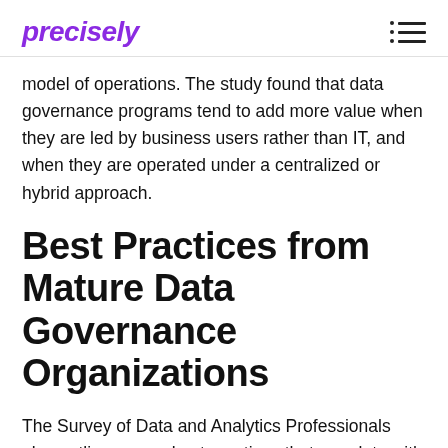precisely
model of operations. The study found that data governance programs tend to add more value when they are led by business users rather than IT, and when they are operated under a centralized or hybrid approach.
Best Practices from Mature Data Governance Organizations
The Survey of Data and Analytics Professionals also outlines some best practices that correlate with the most mature data governance programs.